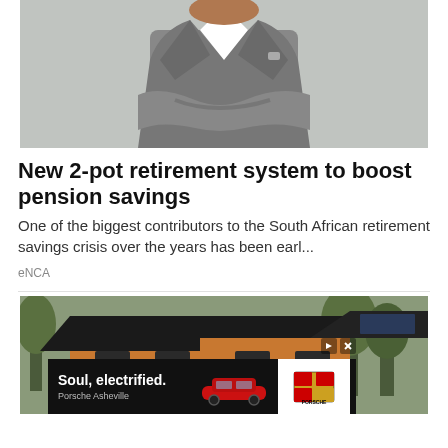[Figure (photo): Photo of a man in a grey suit with arms crossed against a light grey background]
New 2-pot retirement system to boost pension savings
One of the biggest contributors to the South African retirement savings crisis over the years has been earl...
eNCA
[Figure (photo): Photo of a modern wooden house exterior with dark roof against trees, with a Porsche 'Soul, electrified.' advertisement overlay at the bottom showing a red Porsche car and Porsche Asheville branding]